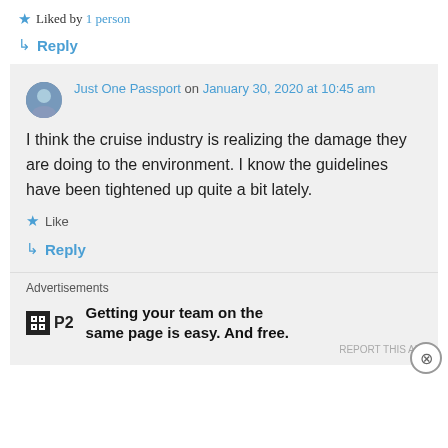★ Liked by 1 person
↳ Reply
Just One Passport on January 30, 2020 at 10:45 am
I think the cruise industry is realizing the damage they are doing to the environment. I know the guidelines have been tightened up quite a bit lately.
★ Like
↳ Reply
Advertisements
Getting your team on the same page is easy. And free.